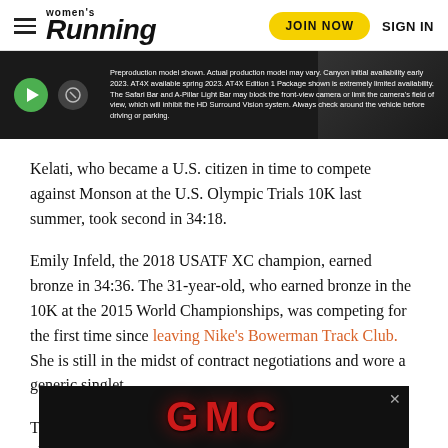women's Running | JOIN NOW | SIGN IN
[Figure (screenshot): Video player banner with dark background showing disclaimer text about preproduction model and vehicle features. Green play button and mute button visible on left side.]
Kelati, who became a U.S. citizen in time to compete against Monson at the U.S. Olympic Trials 10K last summer, took second in 34:18.
Emily Infeld, the 2018 USATF XC champion, earned bronze in 34:36. The 31-year-old, who earned bronze in the 10K at the 2015 World Championships, was competing for the first time since leaving Nike's Bowerman Track Club. She is still in the midst of contract negotiations and wore a generic singlet.
Tokyo Olympic marathon bronze medalist Molly Seidel placed eighth in ... Rowbu... ...rse
[Figure (logo): GMC advertisement banner with red chrome GMC logo on black background with close button.]